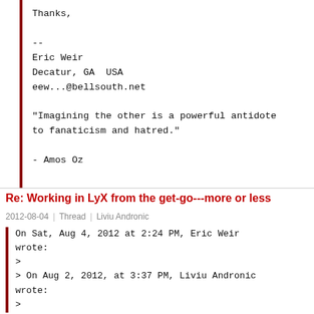Thanks,

--
Eric Weir
Decatur, GA  USA
eew...@bellsouth.net

"Imagining the other is a powerful antidote to fanaticism and hatred."

- Amos Oz
Re: Working in LyX from the get-go---more or less
2012-08-04 | Thread | Liviu Andronic
On Sat, Aug 4, 2012 at 2:24 PM, Eric Weir wrote:
>
> On Aug 2, 2012, at 3:37 PM, Liviu Andronic wrote:
>